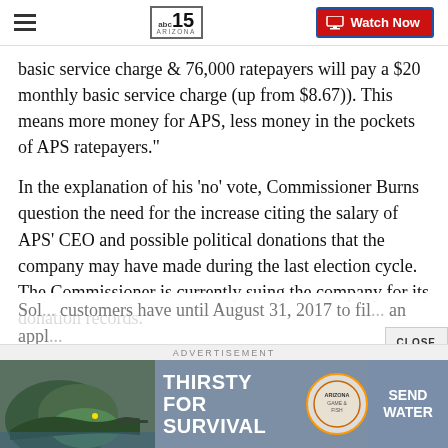abc15 ARIZONA — Watch Now
basic service charge & 76,000 ratepayers will pay a $20 monthly basic service charge (up from $8.67)). This means more money for APS, less money in the pockets of APS ratepayers."
In the explanation of his 'no' vote, Commissioner Burns question the need for the increase citing the salary of APS' CEO and possible political donations that the company may have made during the last election cycle. The Commissioner is currently suing the company for its donation records.
Sol... customers have until August 31, 2017 to file an appl... and more...
[Figure (screenshot): Advertisement banner: Arizona Game & Fish 'Thirsty for Survival' / 'Send Water' campaign with animal photo and logo]